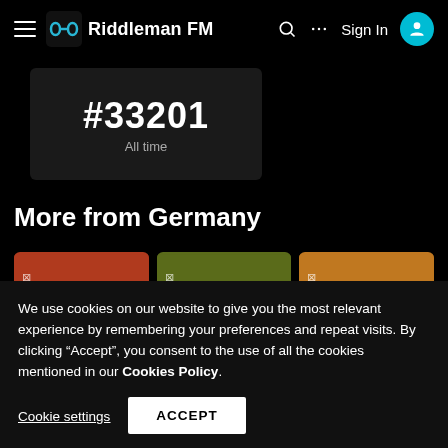Riddleman FM
#33201
All time
More from Germany
[Figure (illustration): Three radio station thumbnail images showing FM logo on red, green, and orange backgrounds]
We use cookies on our website to give you the most relevant experience by remembering your preferences and repeat visits. By clicking “Accept”, you consent to the use of all the cookies mentioned in our Cookies Policy.
Cookie settings   ACCEPT